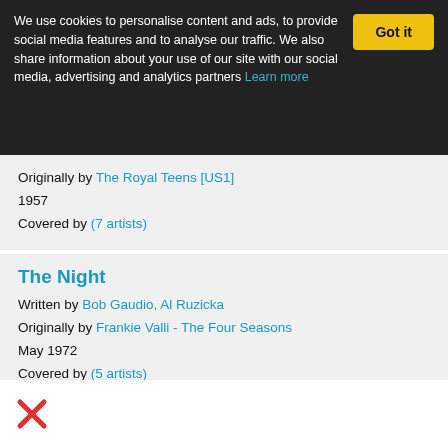We use cookies to personalise content and ads, to provide social media features and to analyse our traffic. We also share information about your use of our site with our social media, advertising and analytics partners Learn more
Originally by The Royal Teens [US1]
1957
Covered by (7 artists)
The Night
Written by Bob Gaudio, Al Ruzicka
Originally by Frankie Valli - The Four Seasons
May 1972
Covered by (5 artists)
Beggin'
Written by Bob Gaudio, Peggy Farina
Originally by The 4 Seasons featuring The 'Sound' of Frankie Valli
February 1967...